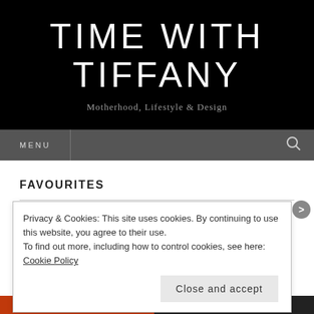TIME WITH TIFFANY
Motherhood, Lifestyle & Design
MENU
FAVOURITES
Privacy & Cookies: This site uses cookies. By continuing to use this website, you agree to their use.
To find out more, including how to control cookies, see here: Cookie Policy
Close and accept